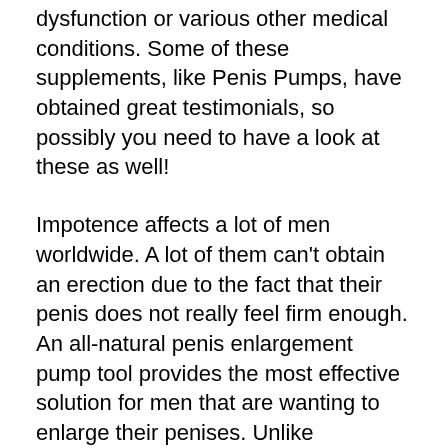dysfunction or various other medical conditions. Some of these supplements, like Penis Pumps, have obtained great testimonials, so possibly you need to have a look at these as well!
Impotence affects a lot of men worldwide. A lot of them can't obtain an erection due to the fact that their penis does not really feel firm enough. An all-natural penis enlargement pump tool provides the most effective solution for men that are wanting to enlarge their penises. Unlike prescription drugs that can create extreme adverse effects, penis augmentation pump therapies do not have any adverse effects.
The components in many penis pumps are